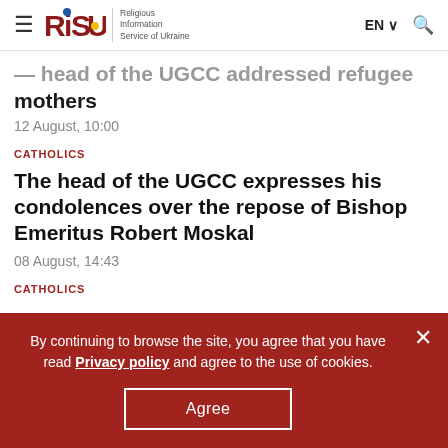RISU — Religious Information Service of Ukraine | EN | Search
...head of the UGCC addressed refugee mothers
12 August, 10:00
CATHOLICS
The head of the UGCC expresses his condolences over the repose of Bishop Emeritus Robert Moskal
08 August, 14:43
CATHOLICS
By continuing to browse the site, you agree that you have read Privacy policy and agree to the use of cookies.
Agree